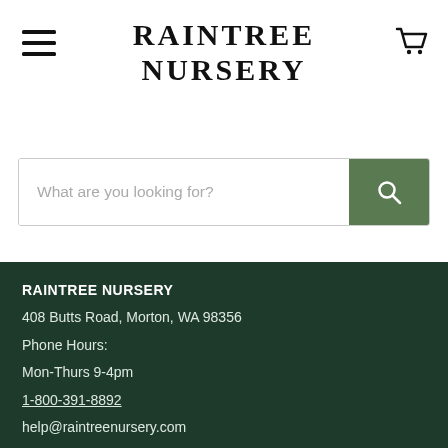RAINTREE NURSERY
[Figure (other): Hamburger menu icon (three horizontal lines)]
[Figure (other): Shopping cart icon]
What are you looking for?
RAINTREE NURSERY
408 Butts Road, Morton, WA 98356
Phone Hours:
Mon-Thurs 9-4pm
1-800-391-8892
help@raintreenursery.com